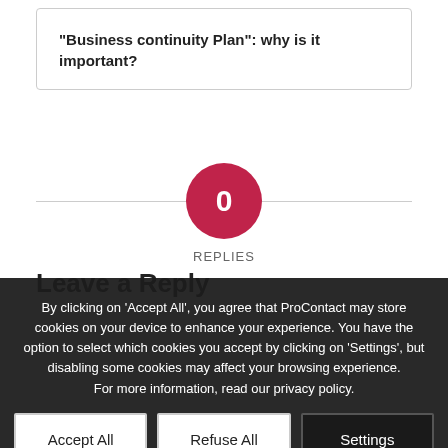“Business continuity Plan”: why is it important?
0
REPLIES
Leave a Reply
By clicking on 'Accept All', you agree that ProContact may store cookies on your device to enhance your experience. You have the option to select which cookies you accept by clicking on 'Settings', but disabling some cookies may affect your browsing experience. For more information, read our privacy policy.
Accept All
Refuse All
Settings